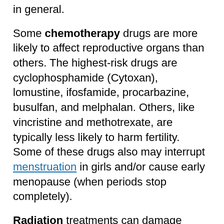in general.
Some chemotherapy drugs are more likely to affect reproductive organs than others. The highest-risk drugs are cyclophosphamide (Cytoxan), lomustine, ifosfamide, procarbazine, busulfan, and melphalan. Others, like vincristine and methotrexate, are typically less likely to harm fertility. Some of these drugs also may interrupt menstruation in girls and/or cause early menopause (when periods stop completely).
Radiation treatments can damage testes or ovaries. Radiation focused on or near the pelvic area, abdomen, spine, and/or the whole body may damage sperm or eggs. Also, radiation to the abdomen, pelvic area, or entire body may affect how the uterus works and make it hard to carry a baby to full term. It also can interrupt menstruation in girls or reduce sperm count